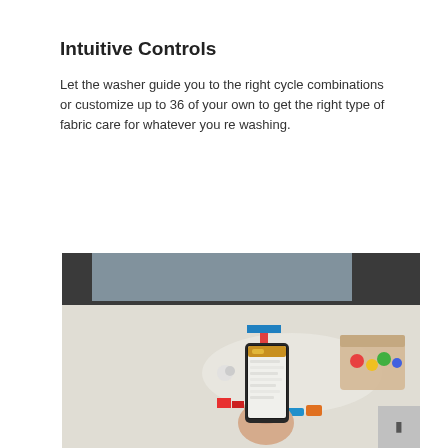Intuitive Controls
Let the washer guide you to the right cycle combinations or customize up to 36 of your own to get the right type of fabric care for whatever you re washing.
[Figure (photo): Person holding a smartphone displaying a laundry app with a yellow/orange header, surrounded by children's toys on a white table, with a dark window in the background.]